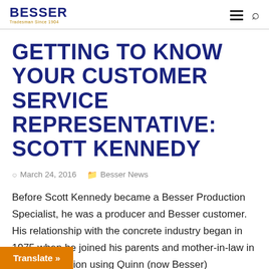BESSER — Tradesman Since 1904
GETTING TO KNOW YOUR CUSTOMER SERVICE REPRESENTATIVE: SCOTT KENNEDY
March 24, 2016   Besser News
Before Scott Kennedy became a Besser Production Specialist, he was a producer and Besser customer. His relationship with the concrete industry began in 1975 when he joined his parents and mother-in-law in the …operation using Quinn (now Besser)